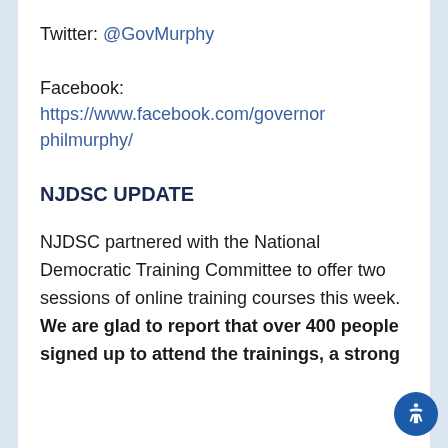Twitter: @GovMurphy
Facebook:
https://www.facebook.com/governorphilmurphy/
NJDSC UPDATE
NJDSC partnered with the National Democratic Training Committee to offer two sessions of online training courses this week. We are glad to report that over 400 people signed up to attend the trainings, a strong